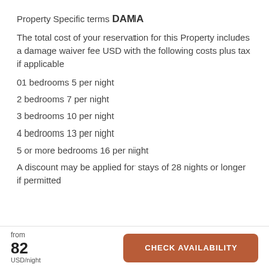Property Specific terms
DAMA
The total cost of your reservation for this Property includes a damage waiver fee USD with the following costs plus tax if applicable
01 bedrooms 5 per night
2 bedrooms 7 per night
3 bedrooms 10 per night
4 bedrooms 13 per night
5 or more bedrooms 16 per night
A discount may be applied for stays of 28 nights or longer if permitted
from 82 USD/night  CHECK AVAILABILITY